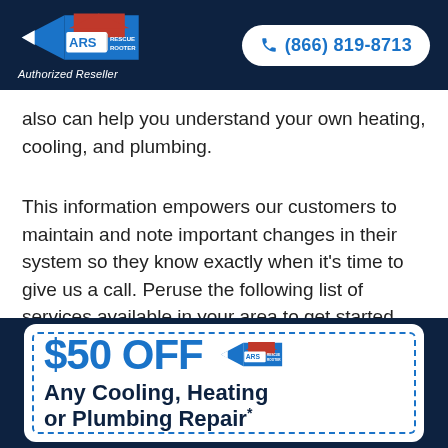ARS Rescue Rooter — Authorized Reseller | (866) 819-8713
also can help you understand your own heating, cooling, and plumbing.
This information empowers our customers to maintain and note important changes in their system so they know exactly when it's time to give us a call. Peruse the following list of services available in your area to get started.
[Figure (infographic): Coupon card with dashed blue border. Large blue text '$50 OFF' with ARS Rescue Rooter logo, followed by bold dark blue text 'Any Cooling, Heating or Plumbing Repair*']